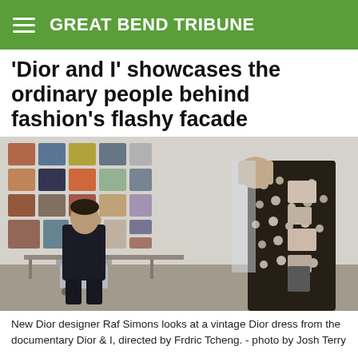GREAT BEND TRIBUNE
'Dior and I' showcases the ordinary people behind fashion's flashy facade
[Figure (photo): New Dior designer Raf Simons seated in a studio looking at a model wearing a vintage Dior dress. Photos and design sketches cover the white wall behind him.]
New Dior designer Raf Simons looks at a vintage Dior dress from the documentary Dior & I, directed by Frdric Tcheng. - photo by Josh Terry